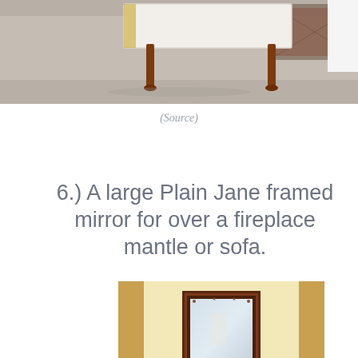[Figure (photo): Top portion of a room photo showing a white coffee table with dark legs on grey carpet with an area rug visible]
(Source)
6.) A large Plain Jane framed mirror for over a fireplace mantle or sofa.
[Figure (photo): Photo of a fireplace mantle with a dark wood framed mirror hanging above it, decorative items on the mantle shelf, and an ornate fireplace surround]